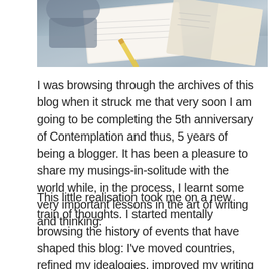[Figure (photo): Photo of a person studying at a desk with notebooks, books and a pencil visible, viewed from above/behind.]
I was browsing through the archives of this blog when it struck me that very soon I am going to be completing the 5th anniversary of Contemplation and thus, 5 years of being a blogger. It has been a pleasure to share my musings-in-solitude with the world while, in the process, I learnt some very important lessons in the art of writing and thinking.
This little realisation took me on a new train of thoughts. I started mentally browsing the history of events that have shaped this blog: I've moved countries, refined my idealogies, improved my writing and made many new friends. Each of these have affected me in ways which